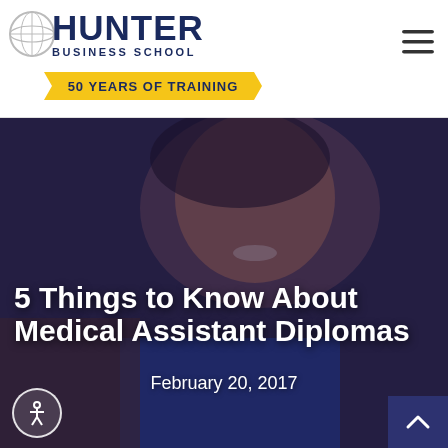[Figure (logo): Hunter Business School logo with globe icon, 'HUNTER BUSINESS SCHOOL' text in navy blue, and gold ribbon banner reading '50 YEARS OF TRAINING']
[Figure (photo): Background hero photo of a young woman smiling, with a blue overlay tint, depicting a medical assistant or student]
5 Things to Know About Medical Assistant Diplomas
February 20, 2017